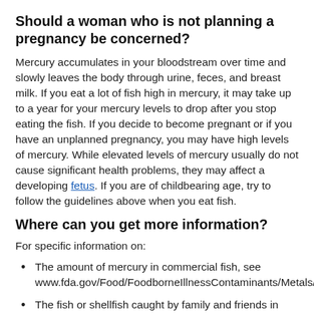Should a woman who is not planning a pregnancy be concerned?
Mercury accumulates in your bloodstream over time and slowly leaves the body through urine, feces, and breast milk. If you eat a lot of fish high in mercury, it may take up to a year for your mercury levels to drop after you stop eating the fish. If you decide to become pregnant or if you have an unplanned pregnancy, you may have high levels of mercury. While elevated levels of mercury usually do not cause significant health problems, they may affect a developing fetus. If you are of childbearing age, try to follow the guidelines above when you eat fish.
Where can you get more information?
For specific information on:
The amount of mercury in commercial fish, see www.fda.gov/Food/FoodborneIllnessContaminants/Metals/ucm115644.htm.
The fish or shellfish caught by family and friends in your local lakes, rivers, and coastal areas, see www.epa.gov/choose-fish-and-shellfish-wisely/fish-and-shellfish-advisories-and-